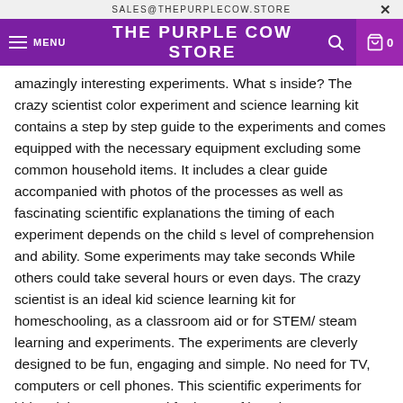SALES@THEPURPLECOW.STORE
THE PURPLE COW STORE
amazingly interesting experiments. What s inside? The crazy scientist color experiment and science learning kit contains a step by step guide to the experiments and comes equipped with the necessary equipment excluding some common household items. It includes a clear guide accompanied with photos of the processes as well as fascinating scientific explanations the timing of each experiment depends on the child s level of comprehension and ability. Some experiments may take seconds While others could take several hours or even days. The crazy scientist is an ideal kid science learning kit for homeschooling, as a classroom aid or for STEM/ steam learning and experiments. The experiments are cleverly designed to be fun, engaging and simple. No need for TV, computers or cell phones. This scientific experiments for kids; Kit has you covered for hours of learning, experimenting, and tricks. Get ready to answer some fun questions This science learning set also makes a great gift. Whether it's for Christmas,